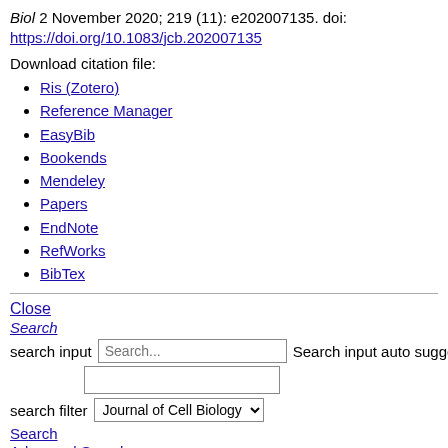Biol 2 November 2020; 219 (11): e202007135. doi: https://doi.org/10.1083/jcb.202007135
Download citation file:
Ris (Zotero)
Reference Manager
EasyBib
Bookends
Mendeley
Papers
EndNote
RefWorks
BibTex
Close
Search
search input  Search...  Search input auto suggest
search filter  Journal of Cell Biology
Search
Advanced Search
Protein secretion is initiated at the endoplasmic reticulum by the